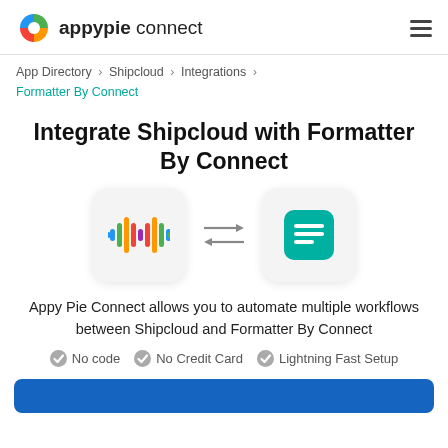appypie connect
App Directory > Shipcloud > Integrations > Formatter By Connect
Integrate Shipcloud with Formatter By Connect
[Figure (illustration): Shipcloud logo icon (colorful audio waveform bars) and Formatter By Connect icon (teal square with document lines), connected by bidirectional arrows]
Appy Pie Connect allows you to automate multiple workflows between Shipcloud and Formatter By Connect
No code
No Credit Card
Lightning Fast Setup